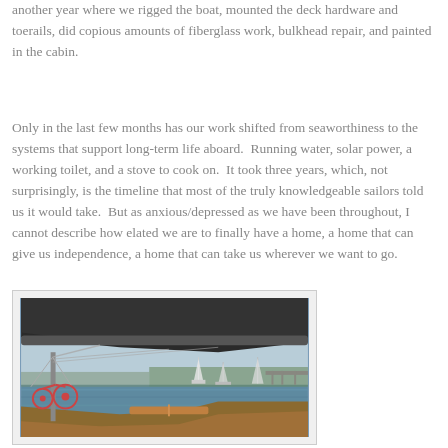another year where we rigged the boat, mounted the deck hardware and toerails, did copious amounts of fiberglass work, bulkhead repair, and painted in the cabin.
Only in the last few months has our work shifted from seaworthiness to the systems that support long-term life aboard.  Running water, solar power, a working toilet, and a stove to cook on.  It took three years, which, not surprisingly, is the timeline that most of the truly knowledgeable sailors told us it would take.  But as anxious/depressed as we have been throughout, I cannot describe how elated we are to finally have a home, a home that can give us independence, a home that can take us wherever we want to go.
[Figure (photo): View from sailboat deck looking forward toward the bow, with a large dark sail/boom visible overhead, marina with other sailboats in background, cloudy sky, water visible on both sides.]